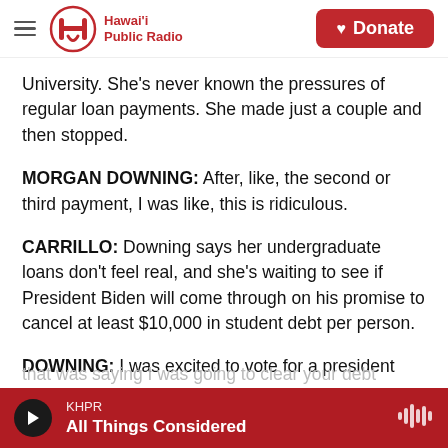Hawaii Public Radio — Donate
University. She's never known the pressures of regular loan payments. She made just a couple and then stopped.
MORGAN DOWNING: After, like, the second or third payment, I was like, this is ridiculous.
CARRILLO: Downing says her undergraduate loans don't feel real, and she's waiting to see if President Biden will come through on his promise to cancel at least $10,000 in student debt per person.
DOWNING: I was excited to vote for a president that was saying I was going to clear your debt
KHPR — All Things Considered